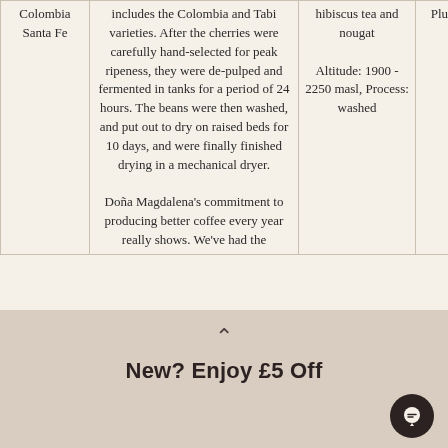| Origin | Process Description | Details | Score |
| --- | --- | --- | --- |
| Colombia Santa Fe | includes the Colombia and Tabi varieties. After the cherries were carefully hand-selected for peak ripeness, they were de-pulped and fermented in tanks for a period of 24 hours. The beans were then washed, and put out to dry on raised beds for 10 days, and were finally finished drying in a mechanical dryer.

Doña Magdalena's commitment to producing better coffee every year really shows. We've had the | hibiscus tea and nougat

Altitude: 1900 - 2250 masl, Process: washed | Plus 87 |
New? Enjoy £5 Off